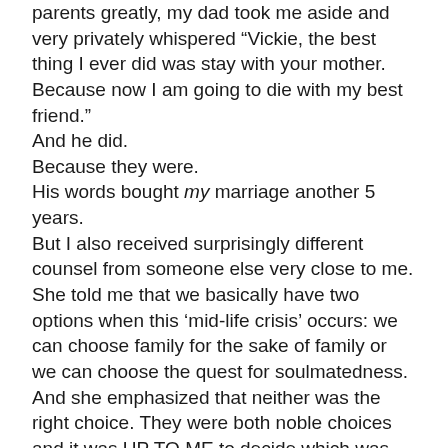parents greatly, my dad took me aside and very privately whispered “Vickie, the best thing I ever did was stay with your mother. Because now I am going to die with my best friend.”
And he did.
Because they were.
His words bought my marriage another 5 years.
But I also received surprisingly different counsel from someone else very close to me. She told me that we basically have two options when this ‘mid-life crisis’ occurs: we can choose family for the sake of family or we can choose the quest for soulmatedness. And she emphasized that neither was the right choice. They were both noble choices and it was UP TO ME to decide which was the one for me. Period. Then it was up to me to make that choice and live it.
At that time one of the above also emailed. Figure out what it...